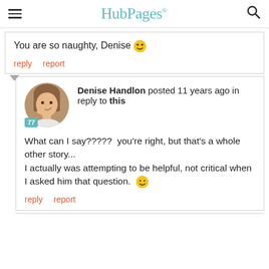HubPages
You are so naughty, Denise 😄
reply   report
Denise Handlon posted 11 years ago in reply to this
What can I say?????  you're right, but that's a whole other story...
I actually was attempting to be helpful, not critical when I asked him that question. 🙂
reply   report